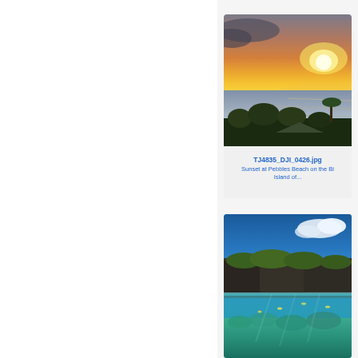[Figure (photo): Aerial sunset photo over Pebbles Beach, showing golden sky over ocean with dark volcanic rocks and palm trees in foreground]
TJ4835_DJI_0426.jpg
Sunset at Pebbles Beach on the Bi Island of...
[Figure (photo): Split underwater/above water photo showing coral reef below and volcanic rocky coastline with blue sky above]